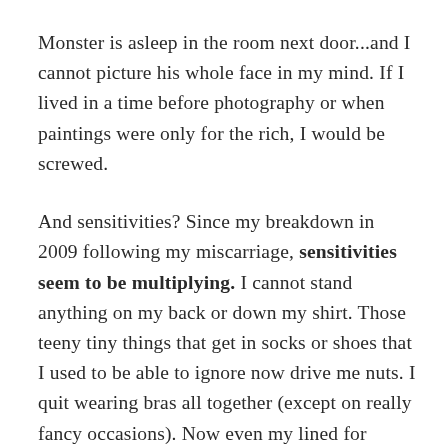Monster is asleep in the room next door...and I cannot picture his whole face in my mind. If I lived in a time before photography or when paintings were only for the rich, I would be screwed.
And sensitivities? Since my breakdown in 2009 following my miscarriage, sensitivities seem to be multiplying. I cannot stand anything on my back or down my shirt. Those teeny tiny things that get in socks or shoes that I used to be able to ignore now drive me nuts. I quit wearing bras all together (except on really fancy occasions). Now even my lined for support cami's are beginning to bother me.